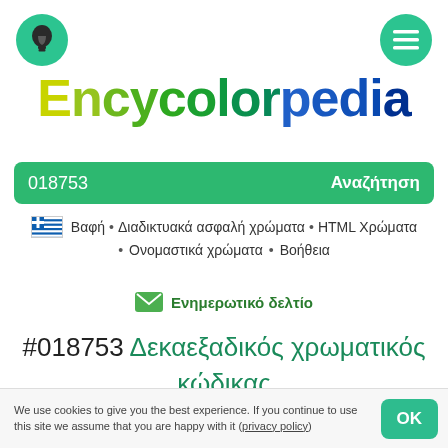Encycolorpedia
018753  Αναζήτηση
Βαφή • Διαδικτυακά ασφαλή χρώματα • HTML Χρώματα • Ονομαστικά χρώματα • Βοήθεια
Ενημερωτικό δελτίο
#018753 Δεκαεξαδικός χρωματικός κώδικας
We use cookies to give you the best experience. If you continue to use this site we assume that you are happy with it (privacy policy)